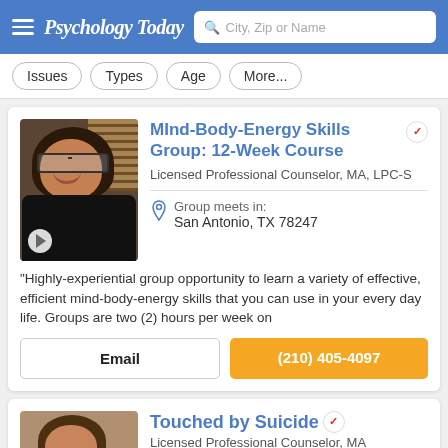Psychology Today — City, Zip or Name search bar
Issues
Types
Age
More...
MInd-Body-Energy Skills Group: 12-Week Course
Licensed Professional Counselor, MA, LPC-S
Group meets in: San Antonio, TX 78247
"Highly-experiential group opportunity to learn a variety of effective, efficient mind-body-energy skills that you can use in your every day life. Groups are two (2) hours per week on
Email
(210) 405-4097
Touched by Suicide
Licensed Professional Counselor, MA